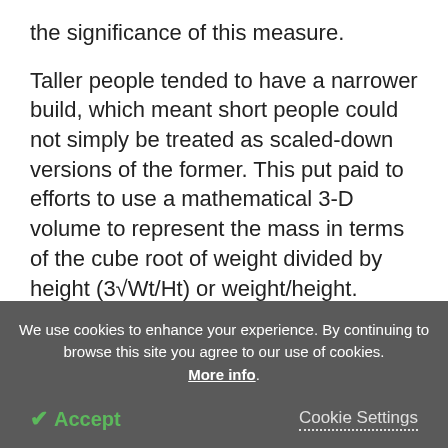the significance of this measure.
Taller people tended to have a narrower build, which meant short people could not simply be treated as scaled-down versions of the former. This put paid to efforts to use a mathematical 3-D volume to represent the mass in terms of the cube root of weight divided by height (3√Wt/Ht) or weight/height.
Later equations using Weight/Height^1.6 were the most scalable, indicating the exponential effect of increasing
We use cookies to enhance your experience. By continuing to browse this site you agree to our use of cookies. More info.
✓ Accept
Cookie Settings